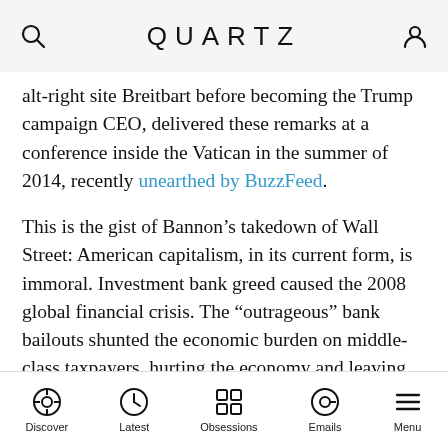QUARTZ
alt-right site Breitbart before becoming the Trump campaign CEO, delivered these remarks at a conference inside the Vatican in the summer of 2014, recently unearthed by BuzzFeed.
This is the gist of Bannon’s takedown of Wall Street: American capitalism, in its current form, is immoral. Investment bank greed caused the 2008 global financial crisis. The “outrageous” bank bailouts shunted the economic burden on middle-class taxpayers, hurting the economy and leaving many—particularly millennials—out of jobs. Shareholders, bank execs, and crony capitalists, meanwhile, made out like bandits. Nothing’s changed to fix it. Banks are still bent on turning hedge fund-style profits, ignoring their proper role in the
Discover  Latest  Obsessions  Emails  Menu